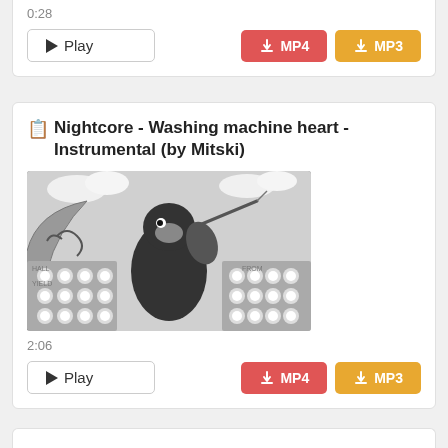0:28
Play | MP4 | MP3
Nightcore - Washing machine heart - Instrumental (by Mitski)
[Figure (photo): Grayscale animated/illustrated image showing a cartoon penguin-like character playing a violin or fiddle, with decorative circular lights and ornamental designs in the background.]
2:06
Play | MP4 | MP3